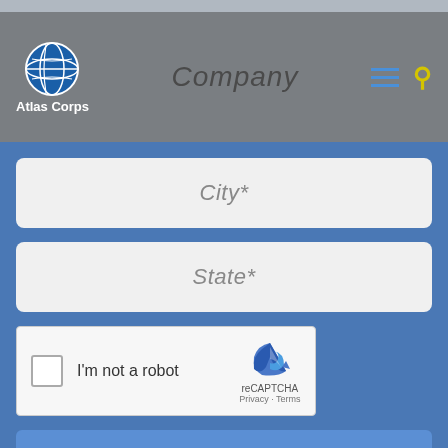[Figure (screenshot): Atlas Corps website header with globe logo, company label, hamburger menu, and search icon]
City*
State*
[Figure (other): reCAPTCHA widget with checkbox, I'm not a robot text, reCAPTCHA logo, Privacy and Terms links]
Submit